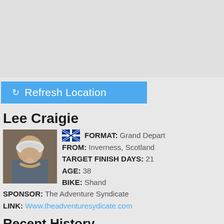[Figure (map): Gray map background area]
[Figure (other): Blue Refresh Location button with refresh icon]
Lee Craigie
[Figure (photo): Profile photo of Lee Craigie wearing a white cycling helmet, smiling]
FORMAT: Grand Depart
FROM: Inverness, Scotland
TARGET FINISH DAYS: 21
AGE: 38
BIKE: Shand
SPONSOR: The Adventure Syndicate
LINK: Www.theadventuresydicate.com
Recent History